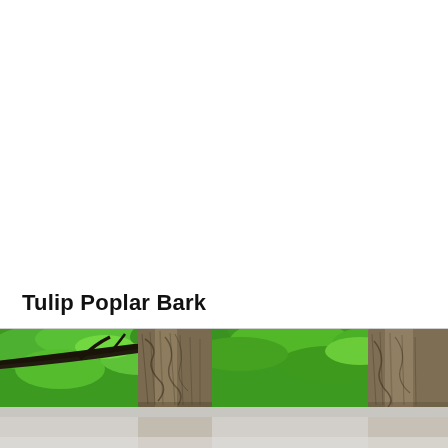Tulip Poplar Bark
[Figure (photo): Upward-looking photograph of tulip poplar tree trunks with deeply furrowed bark, surrounded by bright green foliage canopy. The image shows two prominent trunks with interlocking ridged bark texture against lush green leaves. A faded reflection of the image appears at the bottom.]